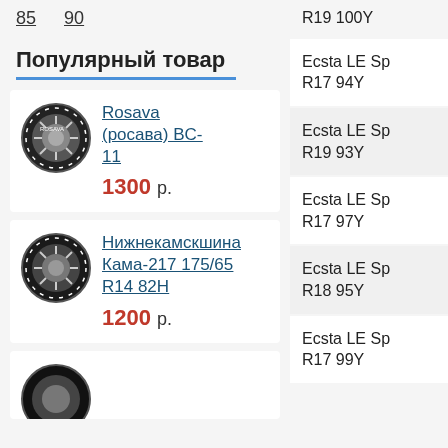85   90
Популярный товар
Rosava (росава) BC-11
1300 р.
Нижнекамскшина Кама-217 175/65 R14 82H
1200 р.
R19 100Y
Ecsta LE Sp
R17 94Y
Ecsta LE Sp
R19 93Y
Ecsta LE Sp
R17 97Y
Ecsta LE Sp
R18 95Y
Ecsta LE Sp
R17 99Y